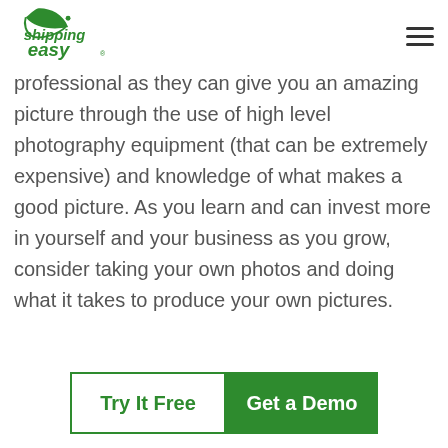ShippingEasy logo and navigation
professional as they can give you an amazing picture through the use of high level photography equipment (that can be extremely expensive) and knowledge of what makes a good picture. As you learn and can invest more in yourself and your business as you grow, consider taking your own photos and doing what it takes to produce your own pictures.
5. We are on your side, use us
Try It Free | Get a Demo